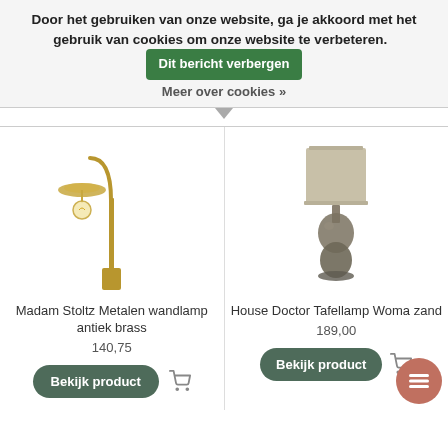Door het gebruiken van onze website, ga je akkoord met het gebruik van cookies om onze website te verbeteren.
Dit bericht verbergen
Meer over cookies »
[Figure (photo): Madam Stoltz Metalen wandlamp antiek brass — a brass arc wall lamp with visible bulb and flat saucer reflector]
Madam Stoltz Metalen wandlamp antiek brass
140,75
Bekijk product
[Figure (photo): House Doctor Tafellamp Woma zand — a table lamp with a beige rectangular shade and a sculptural double-sphere sandy/grey base]
House Doctor Tafellamp Woma zand
189,00
Bekijk product